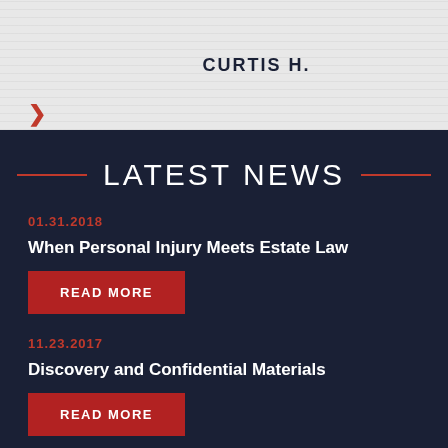CURTIS H.
[Figure (other): Red right-arrow chevron navigation element]
LATEST NEWS
01.31.2018
When Personal Injury Meets Estate Law
READ MORE
11.23.2017
Discovery and Confidential Materials
READ MORE